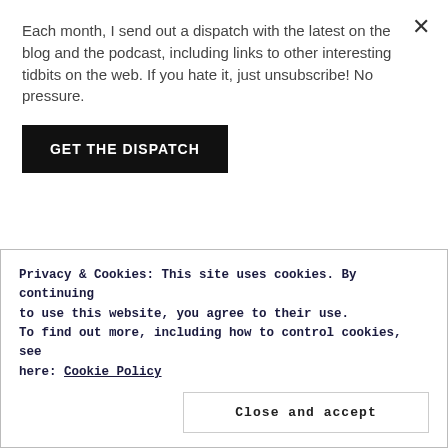Each month, I send out a dispatch with the latest on the blog and the podcast, including links to other interesting tidbits on the web. If you hate it, just unsubscribe! No pressure.
GET THE DISPATCH
Agreed.
Pingback: A Couple Of Elegantly Provided Design Policies from Tom Ford - Man Cave NVMan Cave NV
Privacy & Cookies: This site uses cookies. By continuing to use this website, you agree to their use.
To find out more, including how to control cookies, see here: Cookie Policy
Close and accept